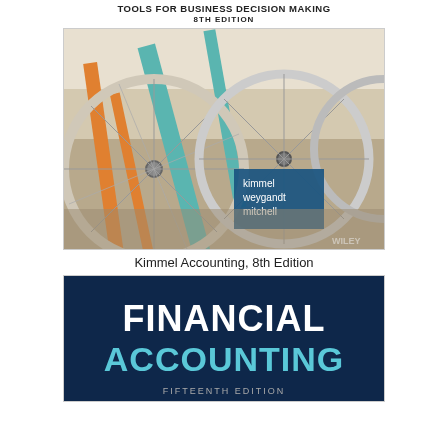TOOLS FOR BUSINESS DECISION MAKING
8TH EDITION
[Figure (photo): Book cover of Kimmel Accounting 8th Edition showing bicycle wheels with authors kimmel, weygandt, mitchell and Wiley publisher logo]
Kimmel Accounting, 8th Edition
[Figure (photo): Book cover of Financial Accounting showing large bold white and teal text on dark blue background with edition text partially visible at bottom]